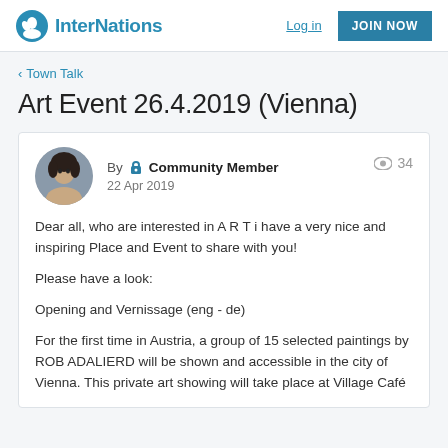InterNations | Log in | JOIN NOW
< Town Talk
Art Event 26.4.2019 (Vienna)
By Community Member
22 Apr 2019
👁 34
Dear all, who are interested in A R T i have a very nice and inspiring Place and Event to share with you!
Please have a look:
Opening and Vernissage (eng - de)
For the first time in Austria, a group of 15 selected paintings by ROB ADALIERD will be shown and accessible in the city of Vienna. This private art showing will take place at Village Café